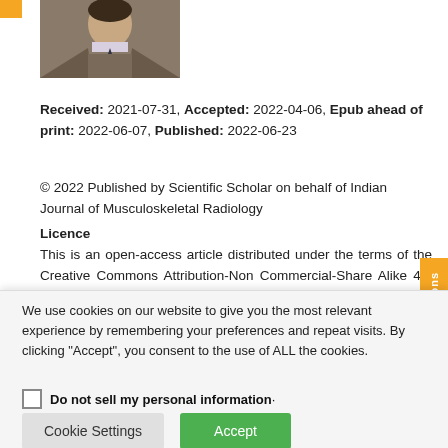[Figure (photo): Portrait photo of a person in a suit with tie, shown from shoulders up]
Received: 2021-07-31, Accepted: 2022-04-06, Epub ahead of print: 2022-06-07, Published: 2022-06-23
© 2022 Published by Scientific Scholar on behalf of Indian Journal of Musculoskeletal Radiology
Licence
This is an open-access article distributed under the terms of the Creative Commons Attribution-Non Commercial-Share Alike 4.0 License, which allows
We use cookies on our website to give you the most relevant experience by remembering your preferences and repeat visits. By clicking "Accept", you consent to the use of ALL the cookies.
Do not sell my personal information.
Cookie Settings
Accept